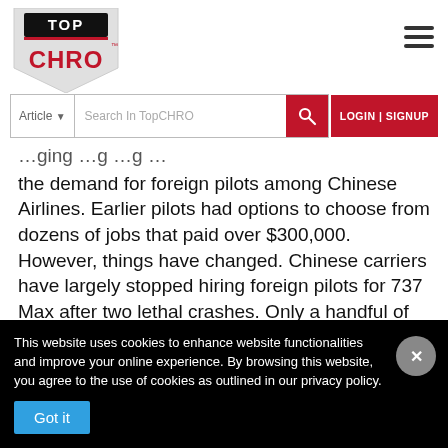[Figure (logo): Top CHRO logo - shield shape with TOP in black box and CHRO in red letters]
[Figure (other): Hamburger menu icon (three horizontal lines)]
[Figure (screenshot): Search bar with Article dropdown, Search In TopCHRO input, search button, and LOGIN | SIGNUP button]
the demand for foreign pilots among Chinese Airlines. Earlier pilots had options to choose from dozens of jobs that paid over $300,000. However, things have changed. Chinese carriers have largely stopped hiring foreign pilots for 737 Max after two lethal crashes. Only a handful of companies are recruiting for such jobs now.
This website uses cookies to enhance website functionalities and improve your online experience. By browsing this website, you agree to the use of cookies as outlined in our privacy policy.